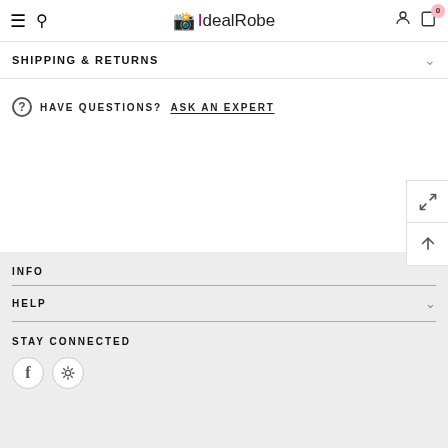IdealRobe — navigation header with hamburger, search, logo, user icon, cart (0)
SHIPPING & RETURNS
HAVE QUESTIONS? ASK AN EXPERT
INFO
HELP
STAY CONNECTED